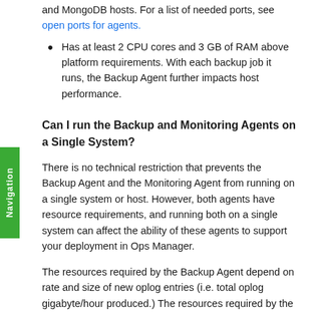and MongoDB hosts. For a list of needed ports, see open ports for agents.
Has at least 2 CPU cores and 3 GB of RAM above platform requirements. With each backup job it runs, the Backup Agent further impacts host performance.
Can I run the Backup and Monitoring Agents on a Single System?
There is no technical restriction that prevents the Backup Agent and the Monitoring Agent from running on a single system or host. However, both agents have resource requirements, and running both on a single system can affect the ability of these agents to support your deployment in Ops Manager.
The resources required by the Backup Agent depend on rate and size of new oplog entries (i.e. total oplog gigabyte/hour produced.) The resources required by the